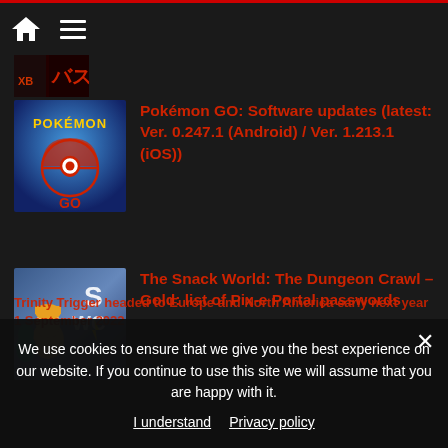Navigation bar with home and menu icons
[Figure (screenshot): Partial thumbnail of a game article, cut off at top]
Pokémon GO: Software updates (latest: Ver. 0.247.1 (Android) / Ver. 1.213.1 (iOS))
[Figure (screenshot): Pokémon GO logo thumbnail - blue background with Pokémon GO branding]
The Snack World: The Dungeon Crawl – Gold: list of Pix-e Portal passwords
[Figure (screenshot): The Snack World game thumbnail showing animated characters]
Trinity Trigger headed to Europe and North America early next year 1 September 2022
We use cookies to ensure that we give you the best experience on our website. If you continue to use this site we will assume that you are happy with it.
I understand    Privacy policy